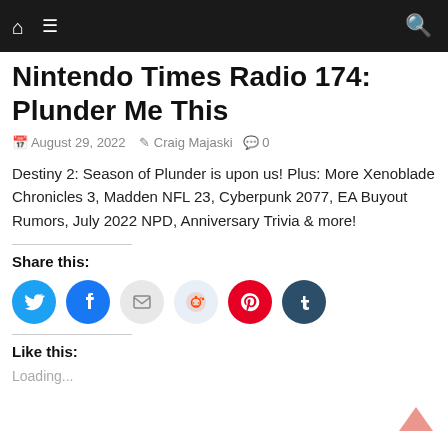Nintendo Times Radio 174: Plunder Me This — nintendotimes.com navigation bar
Nintendo Times Radio 174: Plunder Me This
August 29, 2022  Craig Majaski  0
Destiny 2: Season of Plunder is upon us! Plus: More Xenoblade Chronicles 3, Madden NFL 23, Cyberpunk 2077, EA Buyout Rumors, July 2022 NPD, Anniversary Trivia & more!
Share this:
[Figure (infographic): Social share buttons: Twitter (blue), Facebook (blue), Email (gray), Reddit (light blue), Pinterest (red), Tumblr (dark teal)]
Like this:
Loading...